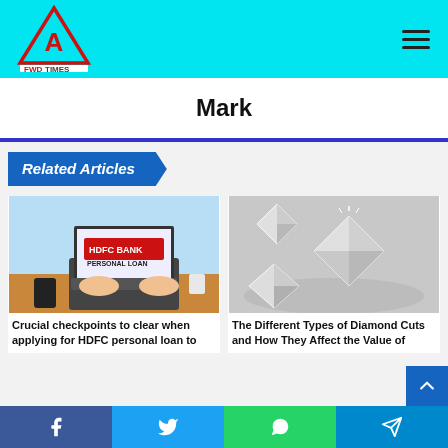[Figure (logo): FWD Times logo with cyan background and hamburger menu icon]
Mark
Related Articles
[Figure (illustration): Illustration of HDFC Bank personal loan on laptop screen with hands typing]
Crucial checkpoints to clear when applying for HDFC personal loan to
[Figure (photo): Photo of sparkling diamond cuts on grey reflective surface]
The Different Types of Diamond Cuts and How They Affect the Value of
[Figure (infographic): Social media share buttons: Facebook, Twitter, WhatsApp, Telegram]